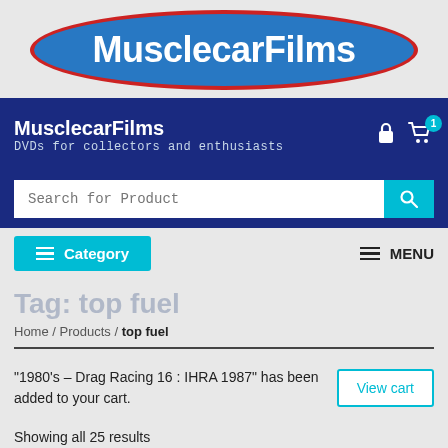[Figure (logo): MusclecarFilms logo — white bold text on a blue oval with red border]
MusclecarFilms
DVDs for collectors and enthusiasts
Search for Product
Category   MENU
Tag: top fuel
Home / Products / top fuel
"1980's – Drag Racing 16 : IHRA 1987" has been added to your cart.
View cart
Showing all 25 results